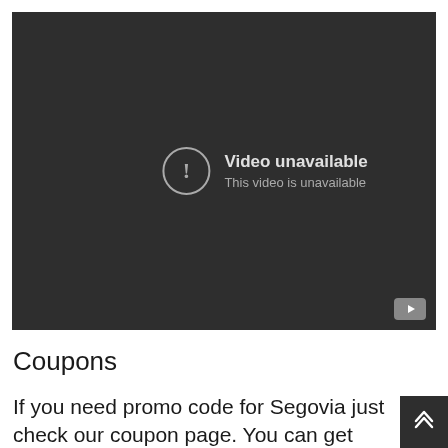[Figure (screenshot): Embedded video player showing 'Video unavailable' error message with exclamation icon and YouTube logo button in bottom right corner. Dark background (#2e2e2e).]
Coupons
If you need promo code for Segovia just check our coupon page. You can get first free ride or save money